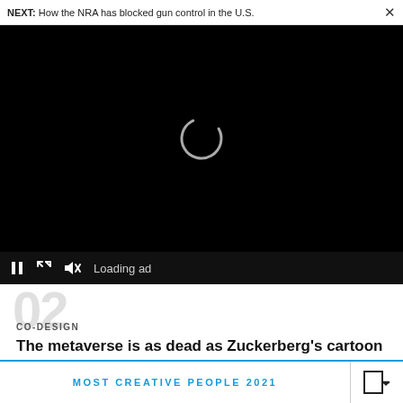NEXT: How the NRA has blocked gun control in the U.S.
[Figure (screenshot): Video player showing a black screen with a loading spinner (partial circle) in the center. Below the video area are playback controls: pause button, expand button, mute button, and 'Loading ad' text.]
02
CO-DESIGN
The metaverse is as dead as Zuckerberg's cartoon eyes
MOST CREATIVE PEOPLE 2021